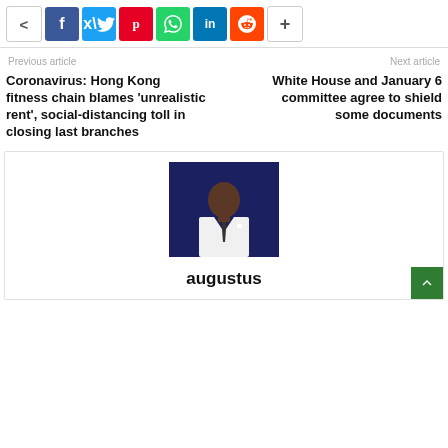[Figure (other): Social share bar with icons: share, Facebook, Twitter, Pinterest, WhatsApp, LinkedIn, Reddit, plus-more]
Previous article
Next article
Coronavirus: Hong Kong fitness chain blames 'unrealistic rent', social-distancing toll in closing last branches
White House and January 6 committee agree to shield some documents
[Figure (photo): Author photo: man in white suit with dark tie against dark blue background]
augustus